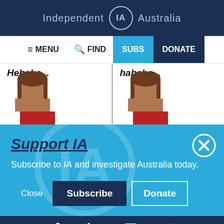Independent IA Australia
[Figure (screenshot): Navigation bar with menu, find, SUBS (cyan), and DONATE (dark navy) buttons]
[Figure (screenshot): Comic strip panels showing two characters laughing with text 'Hehehe...' and 'hahaha...']
Support IA
Subscribe to IA and investigate Australia today.
[Figure (screenshot): Close (X) button circle icon top right of blue overlay]
Close   Subscribe   Donate
Twitter Facebook LinkedIn Flipboard Link Plus social icons